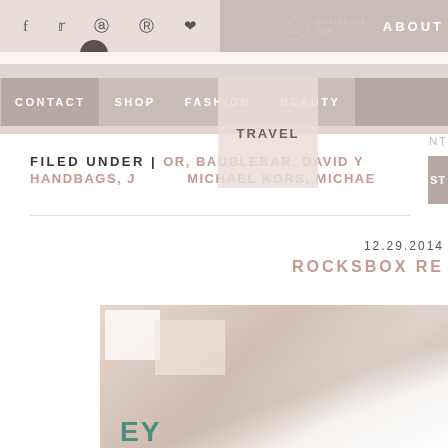f  t  [instagram]  p  [heart]    [photobucket icon]  photobucket    ABOUT
CONTACT  SHOP  FASHION  BEAUTY  ST
NT
[Figure (screenshot): TRAVEL dropdown popup menu overlay on navigation bar]
FILED UNDER |  [OR], BAUBLEBAR, DAVID Y  HANDBAGS, J [TRAVEL] MICHAEL KORS, MICHAE
12.29.2014
ROCKSBOX RE
[Figure (photo): Close-up photo of a pink/blush box with teal text partially visible at bottom, white boxes and packaging visible]